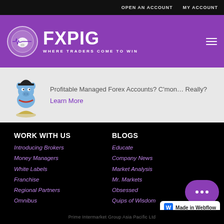OPEN AN ACCOUNT   MY ACCOUNT
[Figure (logo): FXPIG logo — circular icon with pig EKG line graphic on purple background, with tagline WHERE TRADERS COME TO WIN]
Profitable Managed Forex Accounts? C'mon… Really? Learn More
WORK WITH US
Introducing Brokers
Money Managers
White Labels
Franchise
Regional Partners
Omnibus
BLOGS
Educate
Company News
Market Analysis
Mr. Markets
Obsessed
Quips of Wisdom
Prime Intermarket Group Asia Pacific Ltd